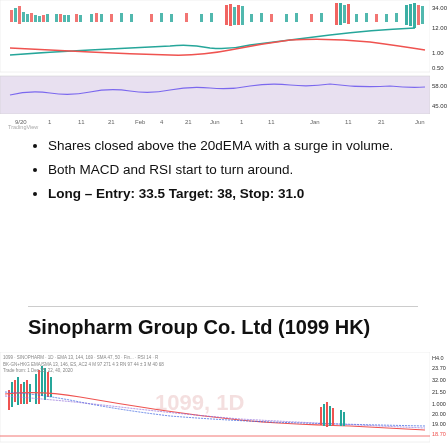[Figure (screenshot): TradingView stock chart screenshot showing candlestick price chart with volume bars, MACD indicator, and RSI indicator with time axis spanning from October to June]
Shares closed above the 20dEMA with a surge in volume.
Both MACD and RSI start to turn around.
Long – Entry: 33.5 Target: 38, Stop: 31.0
Sinopharm Group Co. Ltd (1099 HK)
[Figure (screenshot): TradingView candlestick chart for Sinopharm Group Co. Ltd (1099 HK) showing price decline with multiple moving average lines and a watermark '1099, 1D']